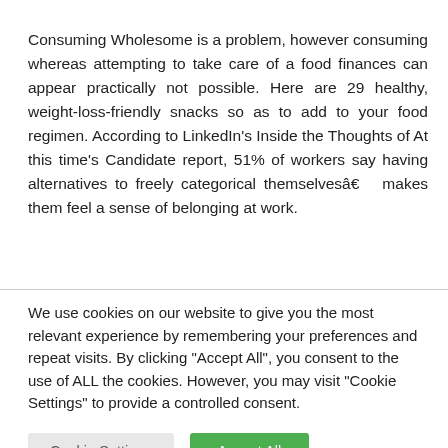Consuming Wholesome is a problem, however consuming whereas attempting to take care of a food finances can appear practically not possible. Here are 29 healthy, weight-loss-friendly snacks so as to add to your food regimen. According to LinkedIn's Inside the Thoughts of At this time's Candidate report, 51% of workers say having alternatives to freely categorical themselvesâ€ makes them feel a sense of belonging at work.
We use cookies on our website to give you the most relevant experience by remembering your preferences and repeat visits. By clicking "Accept All", you consent to the use of ALL the cookies. However, you may visit "Cookie Settings" to provide a controlled consent.